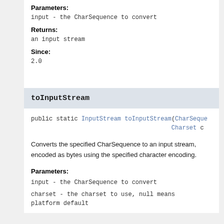Parameters:
input - the CharSequence to convert
Returns:
an input stream
Since:
2.0
toInputStream
public static InputStream toInputStream(CharSeque...
                                    Charset c
Converts the specified CharSequence to an input stream, encoded as bytes using the specified character encoding.
Parameters:
input - the CharSequence to convert
charset - the charset to use, null means platform default